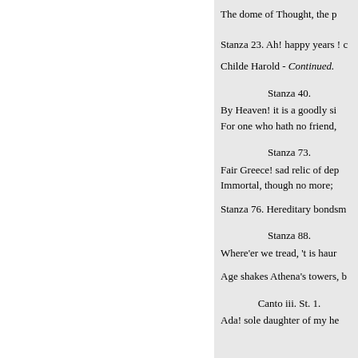The dome of Thought, the p
Stanza 23. Ah! happy years ! c
Childe Harold - Continued.
Stanza 40.
By Heaven! it is a goodly si
For one who hath no friend,
Stanza 73.
Fair Greece! sad relic of dep
Immortal, though no more;
Stanza 76. Hereditary bondsm
Stanza 88.
Where'er we tread, 't is haur
Age shakes Athena's towers, b
Canto iii. St. 1.
Ada! sole daughter of my he